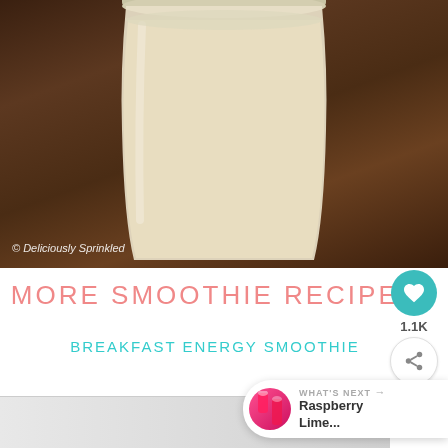[Figure (photo): Close-up photo of a creamy smoothie in a glass mason jar on a dark wooden surface]
© Deliciously Sprinkled
MORE SMOOTHIE RECIPES
BREAKFAST ENERGY SMOOTHIE
[Figure (photo): Partial view of a second smoothie photo at the bottom of the page]
[Figure (infographic): Social media widget showing heart icon with 1.1K count and share button]
WHAT'S NEXT → Raspberry Lime...